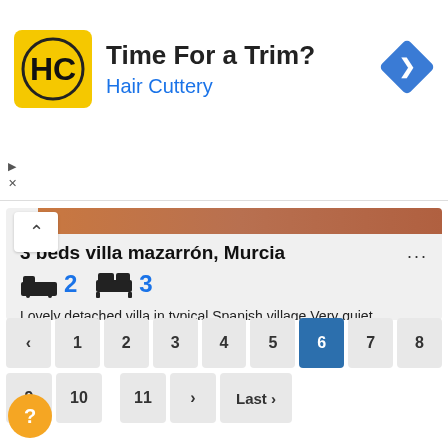[Figure (screenshot): Advertisement banner for Hair Cuttery with yellow logo, title 'Time For a Trim?' and subtitle 'Hair Cuttery', with a blue navigation diamond icon on the right.]
3 beds villa mazarrón, Murcia
Lovely detached villa in typical Spanish village.Very quiet location!! Good size plot overlooking fields of trees and plants!! C...
EUR 159,995
SEE MORE >>
< 1 2 3 4 5 6 7 8 9 10 11 > Last ›